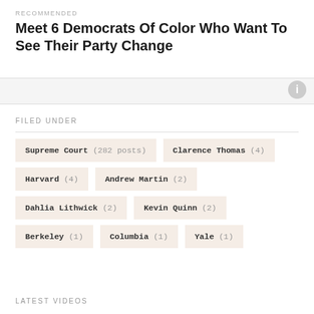RECOMMENDED
Meet 6 Democrats Of Color Who Want To See Their Party Change
COMMENTS
FILED UNDER
Supreme Court (282 posts)
Clarence Thomas (4)
Harvard (4)
Andrew Martin (2)
Dahlia Lithwick (2)
Kevin Quinn (2)
Berkeley (1)
Columbia (1)
Yale (1)
LATEST VIDEOS